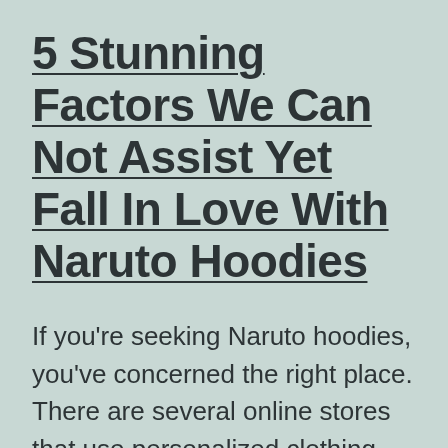5 Stunning Factors We Can Not Assist Yet Fall In Love With Naruto Hoodies
If you're seeking Naruto hoodies, you've concerned the right place. There are several online stores that use personalized clothing made from the renowned manga series. You can likewise search for hoodies with the phrase “naruto” in the search bar to see the